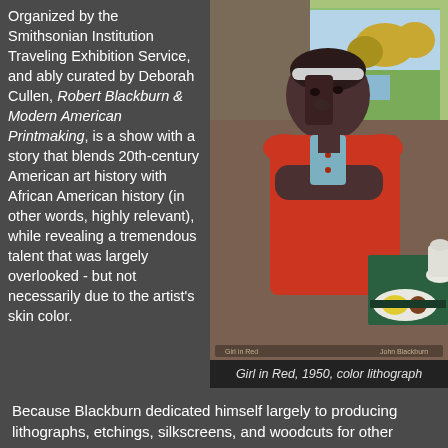Organized by the Smithsonian Institution Traveling Exhibition Service, and ably curated by Deborah Cullen, Robert Blackburn & Modern American Printmaking, is a show with a story that blends 20th-century American art history with African American history (in other words, highly relevant), while revealing a tremendous talent that was largely overlooked - but not necessarily due to the artist's skin color.
[Figure (illustration): Color lithograph artwork titled 'Girl in Red, 1950' showing a young girl in a red dress with arms crossed, seated in front of a window with a landscape view, and a table with white vase and fruits beside her.]
Girl in Red, 1950, color lithograph
Because Blackburn dedicated himself largely to producing lithographs, etchings, silkscreens, and woodcuts for other